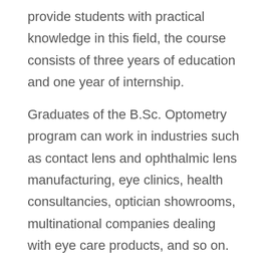provide students with practical knowledge in this field, the course consists of three years of education and one year of internship.
Graduates of the B.Sc. Optometry program can work in industries such as contact lens and ophthalmic lens manufacturing, eye clinics, health consultancies, optician showrooms, multinational companies dealing with eye care products, and so on.
Admission Open For
LPU University 2022 Application Open